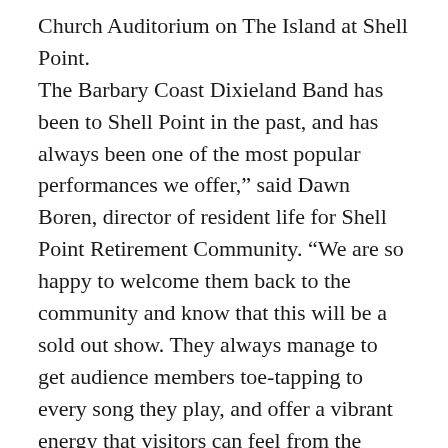Church Auditorium on The Island at Shell Point. The Barbary Coast Dixieland Band has been to Shell Point in the past, and has always been one of the most popular performances we offer," said Dawn Boren, director of resident life for Shell Point Retirement Community. "We are so happy to welcome them back to the community and know that this will be a sold out show. They always manage to get audience members toe-tapping to every song they play, and offer a vibrant energy that visitors can feel from the stage."
The Barbary Coast Dixieland Band has been performing for 40 years, was elected into the Minnesota Music Hall of Fame, and rated among the finest Dixieland Bands in the country. The band plays everywhere from paddleboats in Mississippi to Nagasaki, Japan. The group is comprised of six talented musicians who play 18 instruments, and who are such versatile musicians, that they occasionally swap instruments on stage without missing a